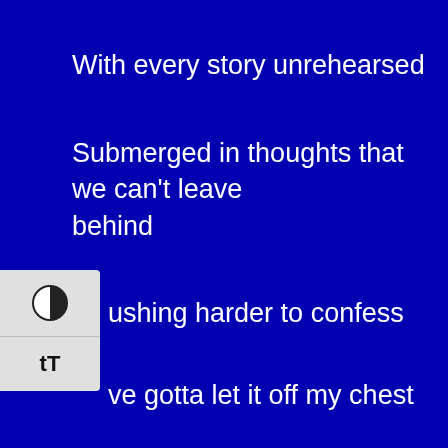With every story unrehearsed
Submerged in thoughts that we can't leave behind
Pushing harder to confess
I've gotta let it off my chest
Before this weight lies heavy on my mind
But what's to find? Now what's to fear?